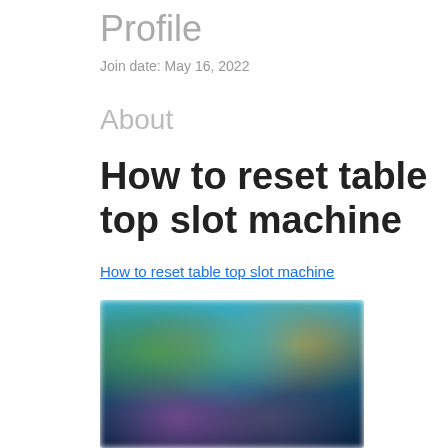Profile
Join date: May 16, 2022
About
How to reset table top slot machine
How to reset table top slot machine
[Figure (photo): Blurred screenshot of a gaming or slot machine related image with colorful animated characters on a dark background]